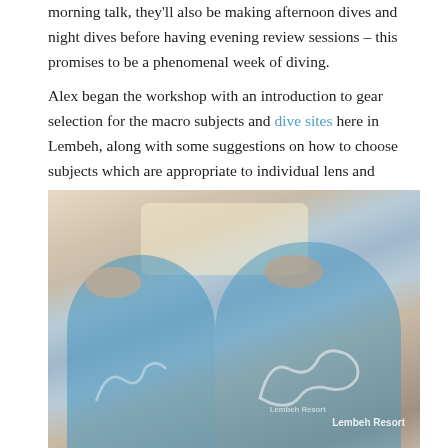morning talk, they'll also be making afternoon dives and night dives before having evening review sessions – this promises to be a phenomenal week of diving.
Alex began the workshop with an introduction to gear selection for the macro subjects and dive sites here in Lembeh, along with some suggestions on how to choose subjects which are appropriate to individual lens and lighting combinations.
[Figure (photo): Two people wearing blue Lembeh Resort t-shirts viewed from behind, looking at a screen/monitor. The shirts have a snake logo on the back. The image has a warm, slightly washed-out tone.]